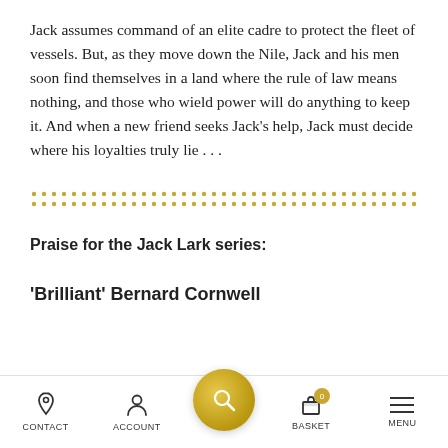Jack assumes command of an elite cadre to protect the fleet of vessels. But, as they move down the Nile, Jack and his men soon find themselves in a land where the rule of law means nothing, and those who wield power will do anything to keep it. And when a new friend seeks Jack's help, Jack must decide where his loyalties truly lie . . .
[Figure (other): Decorative dotted divider made of two rows of small golden dots spanning the page width]
Praise for the Jack Lark series:
'Brilliant' Bernard Cornwell
CONTACT   ACCOUNT   [Search]   BASKET 0   MENU